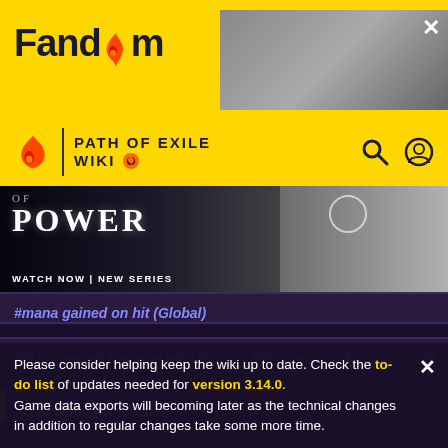[Figure (screenshot): Fandom website header with yellow background, Path of Exile Wiki navigation bar, a movie advertisement banner for 'of POWER - WATCH NOW | NEW SERIES', and wiki content rows showing game modifiers and a notification banner]
Fandom - PATH OF EXILE WIKI
[Figure (photo): Movie advertisement banner showing 'of POWER WATCH NOW | NEW SERIES' with dark fantasy imagery]
#% increased Damage with Poison, #% chance to Poison on Hit
+# to Strength (Global)
Please consider helping keep the wiki up to date. Check the to-do list of updates needed for version 3.14.0. Game data exports will becoming later as the technical changes in addition to regular changes take some more time.